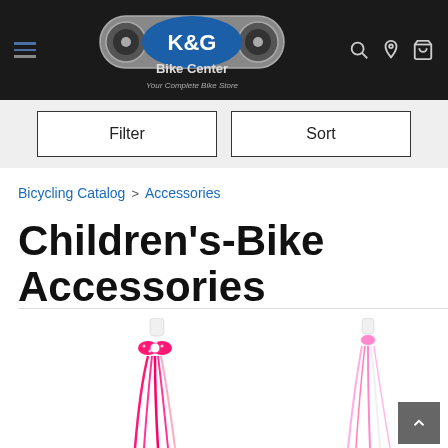[Figure (logo): K&G Bike Center logo on dark background with chain graphic, tagline 'Your Complete Bike Store']
Filter
Sort
Bicycling Catalog > Accessories
Children's-Bike Accessories
[Figure (photo): Two children's bike handlebar tassels/streamers: one hot pink with polka-dot bow on left, one pink/white on right]